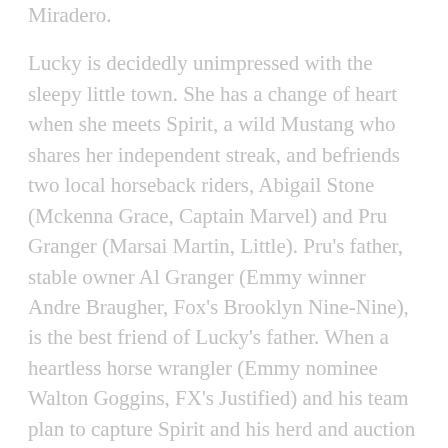Miradero.
Lucky is decidedly unimpressed with the sleepy little town. She has a change of heart when she meets Spirit, a wild Mustang who shares her independent streak, and befriends two local horseback riders, Abigail Stone (Mckenna Grace, Captain Marvel) and Pru Granger (Marsai Martin, Little). Pru's father, stable owner Al Granger (Emmy winner Andre Braugher, Fox's Brooklyn Nine-Nine), is the best friend of Lucky's father. When a heartless horse wrangler (Emmy nominee Walton Goggins, FX's Justified) and his team plan to capture Spirit and his herd and auction them off to a life of captivity and hard labor, Lucky enlists her new friends and bravely embarks on the adventure of a lifetime to rescue the